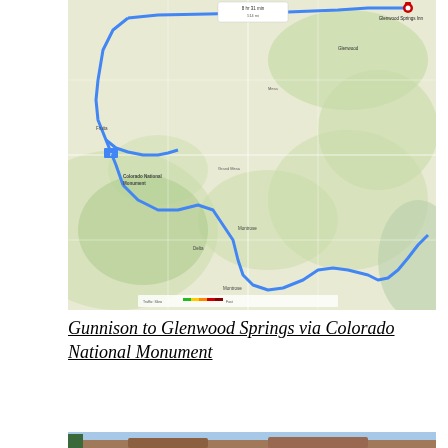[Figure (map): Google Maps screenshot showing a driving route from Gunnison to Glenwood Springs via Colorado National Monument. The blue route line travels west and north through western Colorado, passing through Colorado National Monument near Fruita/Grand Junction area, then north to Glenwood Springs. A red destination pin marks Glenwood Springs Inn in the upper right. Distance/time callout shows route info at top. Map includes various town labels, highway numbers, and terrain shading.]
Gunnison to Glenwood Springs via Colorado National Monument
[Figure (photo): Partial panoramic photo showing a landscape with rocky terrain, red rock formations or cliffs in the foreground, trees on the left edge, and a blue sky with some clouds. Appears to be Colorado National Monument or similar southwestern Colorado landscape.]